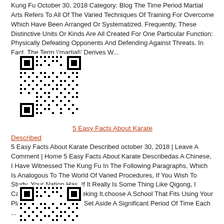Kung Fu October 30, 2018 Category: Blog The Time Period Martial Arts Refers To All Of The Varied Techniques Of Training For Overcome Which Have Been Arranged Or Systematized. Frequently, These Distinctive Units Or Kinds Are All Created For One Particular Function: Physically Defeating Opponents And Defending Against Threats. In Fact, The Term \'martial\' Derives W...
[Figure (other): QR code image]
5 Easy Facts About Karate Described
5 Easy Facts About Karate Described  october 30, 2018  |  Leave A Comment  |    Home 5 Easy Facts About Karate Describedas A Chinese, I Have Witnessed The Kung Fu In The Following Paragraphs, Which Is Analogous To The World Of Varied Procedures, If You Wish To Study, Your Nation Has. If It Really Is Some Thing Like Qigong, I Can\'t Help You. I Am Seeking It.choose A School That Fits Using Your Plan. You Might Need To Set Aside A Significant Period Of Time Each ...
[Figure (other): QR code image]